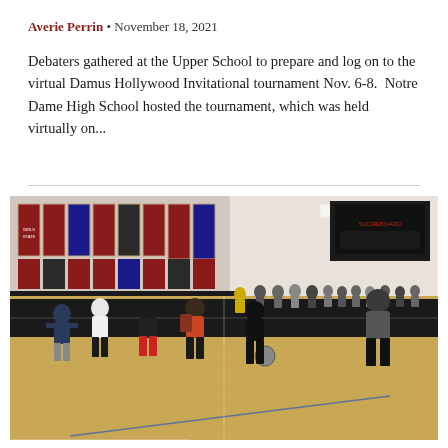Averie Perrin • November 18, 2021
Debaters gathered at the Upper School to prepare and log on to the virtual Damus Hollywood Invitational tournament Nov. 6-8. Notre Dame High School hosted the tournament, which was held virtually on...
[Figure (photo): Students playing dodgeball in a school gymnasium with championship banners on the walls and bleachers visible in the background.]